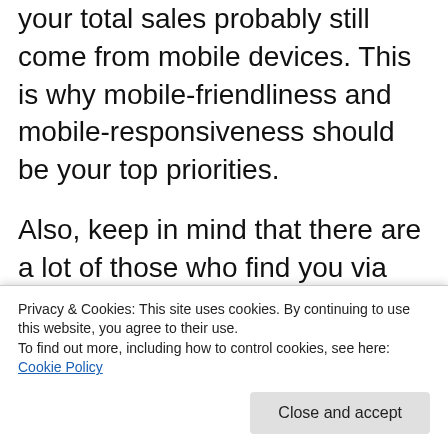your total sales probably still come from mobile devices. This is why mobile-friendliness and mobile-responsiveness should be your top priorities.
Also, keep in mind that there are a lot of those who find you via mobile devices and then purchase from their laptop or desktop setup. Most importantly, if you have both online and offline retail options, you should
Privacy & Cookies: This site uses cookies. By continuing to use this website, you agree to their use.
To find out more, including how to control cookies, see here: Cookie Policy
Close and accept